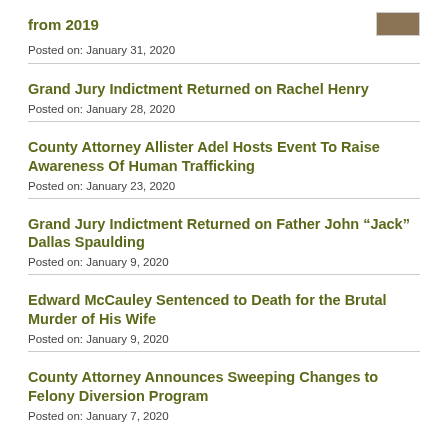from 2019
Posted on: January 31, 2020
Grand Jury Indictment Returned on Rachel Henry
Posted on: January 28, 2020
County Attorney Allister Adel Hosts Event To Raise Awareness Of Human Trafficking
Posted on: January 23, 2020
Grand Jury Indictment Returned on Father John “Jack” Dallas Spaulding
Posted on: January 9, 2020
Edward McCauley Sentenced to Death for the Brutal Murder of His Wife
Posted on: January 9, 2020
County Attorney Announces Sweeping Changes to Felony Diversion Program
Posted on: January 7, 2020